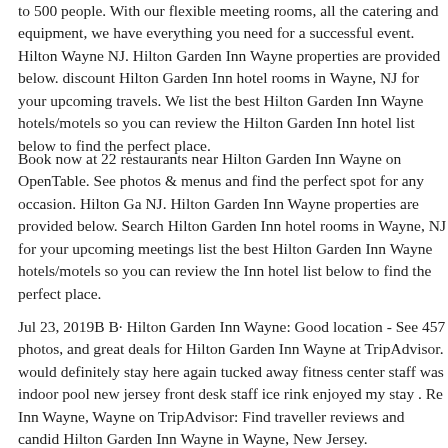to 500 people. With our flexible meeting rooms, all the catering and equipment, we have everything you need for a successful event. Hilton Wayne NJ. Hilton Garden Inn Wayne properties are provided below. discount Hilton Garden Inn hotel rooms in Wayne, NJ for your upcoming travels. We list the best Hilton Garden Inn Wayne hotels/motels so you can review the Hilton Garden Inn hotel list below to find the perfect place.
Book now at 22 restaurants near Hilton Garden Inn Wayne on OpenTable. See photos & menus and find the perfect spot for any occasion. Hilton Garden Inn Wayne NJ. Hilton Garden Inn Wayne properties are provided below. Search for discount Hilton Garden Inn hotel rooms in Wayne, NJ for your upcoming meetings and travels. We list the best Hilton Garden Inn Wayne hotels/motels so you can review the Hilton Garden Inn hotel list below to find the perfect place.
Jul 23, 2019B B· Hilton Garden Inn Wayne: Good location - See 457 traveller photos, and great deals for Hilton Garden Inn Wayne at TripAdvisor. would definitely stay here again tucked away fitness center staff was great indoor pool new jersey front desk staff ice rink enjoyed my stay . Read reviews of Hilton Garden Inn Wayne, Wayne on TripAdvisor: Find traveller reviews and candid photos of Hilton Garden Inn Wayne in Wayne, New Jersey.